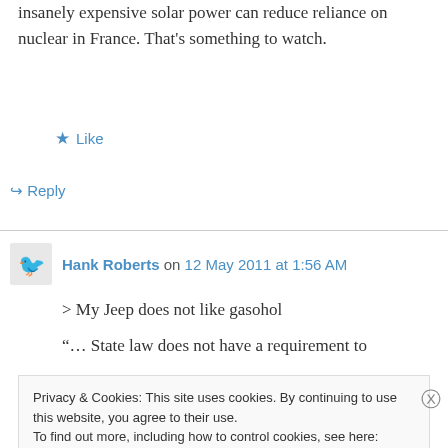insanely expensive solar power can reduce reliance on nuclear in France. That's something to watch.
★ Like
↳ Reply
Hank Roberts on 12 May 2011 at 1:56 AM
> My Jeep does not like gasohol
“… State law does not have a requirement to
Privacy & Cookies: This site uses cookies. By continuing to use this website, you agree to their use.
To find out more, including how to control cookies, see here: Cookie Policy
Close and accept